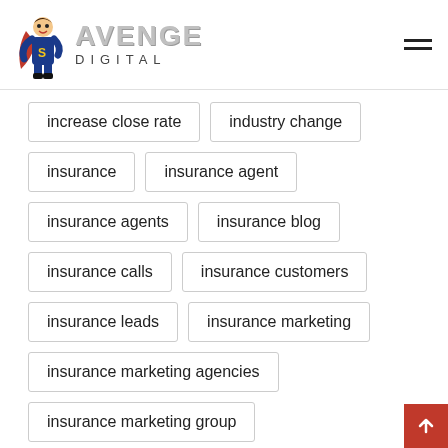[Figure (logo): Avenge Digital logo with superhero mascot and stylized text]
increase close rate
industry change
insurance
insurance agent
insurance agents
insurance blog
insurance calls
insurance customers
insurance leads
insurance marketing
insurance marketing agencies
insurance marketing group
insurance marketing ideas
insurance marketing organization